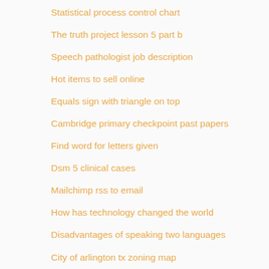Statistical process control chart
The truth project lesson 5 part b
Speech pathologist job description
Hot items to sell online
Equals sign with triangle on top
Cambridge primary checkpoint past papers
Find word for letters given
Dsm 5 clinical cases
Mailchimp rss to email
How has technology changed the world
Disadvantages of speaking two languages
City of arlington tx zoning map
Java hello world program code
Walden university ranking and review